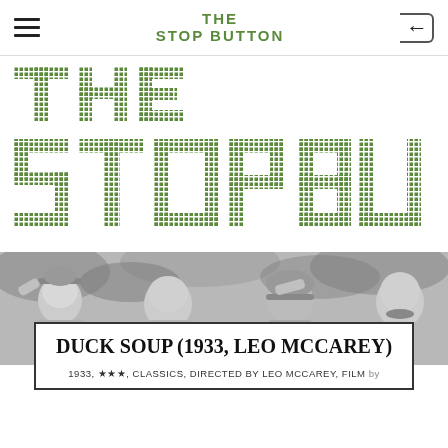THE STOP BUTTON
[Figure (logo): Large pixelated/dot-matrix style green logo reading THE STOP BUTTON]
[Figure (photo): Black and white photo of four men (Marx Brothers) in a row, appearing to salute or tip their hats]
DUCK SOUP (1933, LEO MCCAREY)
1933, ★★★, CLASSICS, DIRECTED BY LEO MCCAREY, FILM by